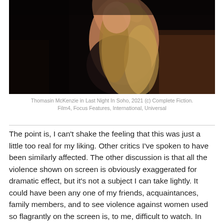[Figure (photo): A woman with long blonde hair in a dark setting, photographed in a dramatic, moody style. She appears to be leaning or dancing, with one arm raised.]
Thomasin McKenzie in Last Night In Soho, 2021 (c) Complete Fiction. Film4, Focus Features, International, Universal
The point is, I can't shake the feeling that this was just a little too real for my liking. Other critics I've spoken to have been similarly affected. The other discussion is that all the violence shown on screen is obviously exaggerated for dramatic effect, but it's not a subject I can take lightly. It could have been any one of my friends, acquaintances, family members, and to see violence against women used so flagrantly on the screen is, to me, difficult to watch. In many ways those